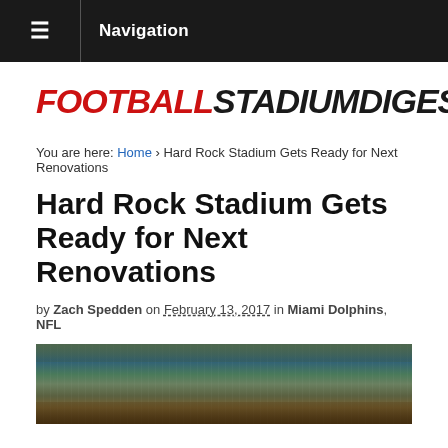☰ Navigation
[Figure (logo): Football Stadium Digest logo in bold italic uppercase text, FOOTBALL in red, STADIUMDIGEST in black]
You are here: Home › Hard Rock Stadium Gets Ready for Next Renovations
Hard Rock Stadium Gets Ready for Next Renovations
by Zach Spedden on February 13, 2017 in Miami Dolphins, NFL
[Figure (photo): Aerial panoramic view of Hard Rock Stadium interior showing seating bowl, field, and roof canopy]